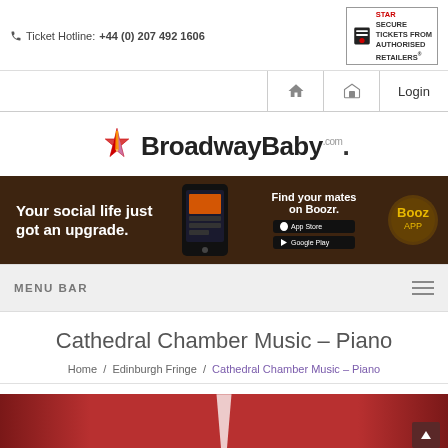Ticket Hotline: +44 (0) 207 492 1606
[Figure (logo): STAR Secure Tickets from Authorised Retailers badge]
[Figure (logo): BroadwayBaby.com logo with star icon]
[Figure (infographic): Boozr app advertisement banner: Your social life just got an upgrade. Find your mates on Boozr. App Store and Google Play buttons.]
MENU BAR
Cathedral Chamber Music – Piano
Home / Edinburgh Fringe / Cathedral Chamber Music – Piano
[Figure (photo): Red theatre curtains background image]